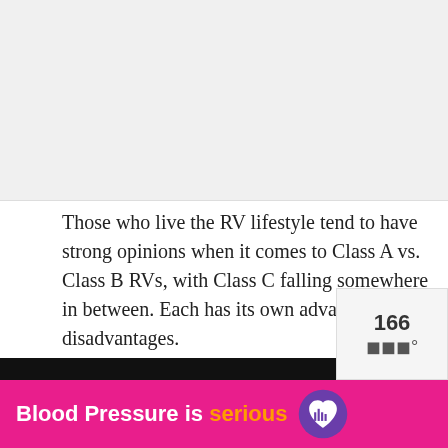[Figure (photo): Gray placeholder image area at top of page]
Those who live the RV lifestyle tend to have strong opinions when it comes to Class A vs. Class B RVs, with Class C falling somewhere in between. Each has its own advantages and disadvantages.
The following are the biggest differences of RV
[Figure (photo): Thumbnail image of a Class B Plus RV for 'What's Next' widget]
WHAT'S NEXT → The Class B Plus RV:...
[Figure (infographic): Advertisement banner: Blood Pressure is serious with purple heart icon]